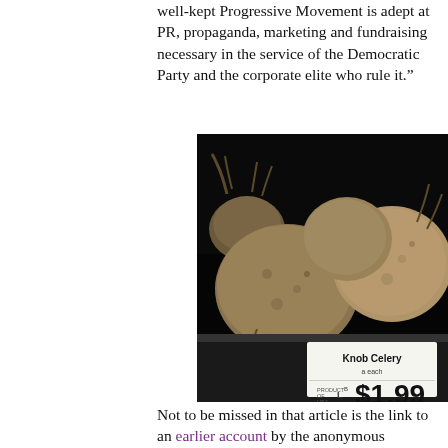well-kept Progressive Movement is adept at PR, propaganda, marketing and fundraising necessary in the service of the Democratic Party and the corporate elite who rule it.”
[Figure (photo): Close-up photograph of Knob Celery (celeriac) vegetables on a store display shelf, with a price tag reading 'Knob Celery $1.99 per lb, Product of USA']
Not to be missed in that article is the link to an earlier account by the anonymous "Insider", which reveals the source of funding for the Tar Sands Campaign, in which a lot of well-intentioned and passionate participants were made unwitting props for Obama's reelection. And, the national Sierra Club still refuses to